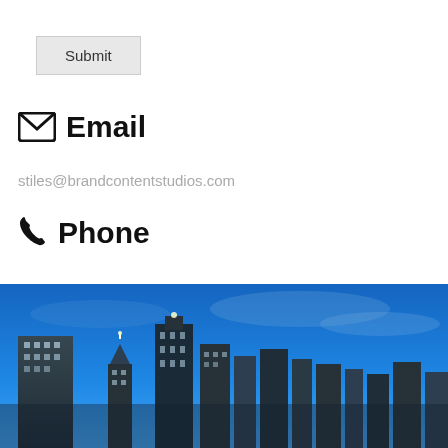Submit
Email
stiles@brandcontentstudios.com
Phone
770-880-3611
[Figure (photo): City skyline at night with blue sky and illuminated buildings]